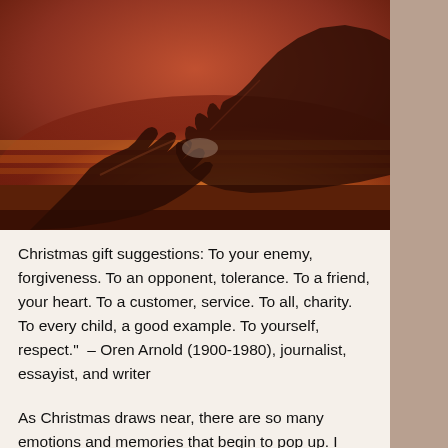[Figure (photo): Two hands reaching toward each other and touching fingertips against a warm orange-red sunset background, reminiscent of Michelangelo's Creation of Adam style.]
Christmas gift suggestions: To your enemy, forgiveness. To an opponent, tolerance. To a friend, your heart. To a customer, service. To all, charity. To every child, a good example. To yourself, respect."  – Oren Arnold (1900-1980), journalist, essayist, and writer
As Christmas draws near, there are so many emotions and memories that begin to pop up. I remember loved ones who have died (especially those who